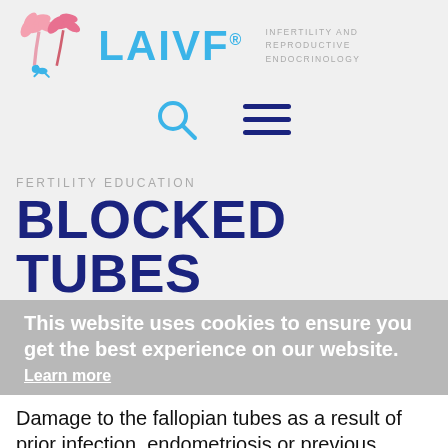[Figure (logo): LAIVF logo with pink palm trees and crawling baby, teal LAIVF text with registered mark, and 'INFERTILITY AND REPRODUCTIVE ENDOCRINOLOGY' subtitle]
[Figure (infographic): Search icon (magnifying glass) and hamburger menu icon in teal/navy]
FERTILITY EDUCATION
BLOCKED TUBES
This website uses cookies to ensure you get the best experience on our website. Learn more
Damage to the fallopian tubes as a result of prior infection, endometriosis or previous pelvic surgery is one of the most common causes of infertility. Tubal blockage can occur in several